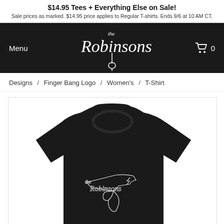$14.95 Tees + Everything Else on Sale! Sale prices as marked. $14.95 price applies to Regular T-shirts. Ends 9/6 at 10 AM CT.
[Figure (logo): The Robinsons logo in white script font on black background with a hangman's noose drop]
Menu
0
Designs / Finger Bang Logo / Women's / T-Shirt
[Figure (photo): Black women's t-shirt with The Robinsons Finger Bang Logo design in white on front, product photo on white background]